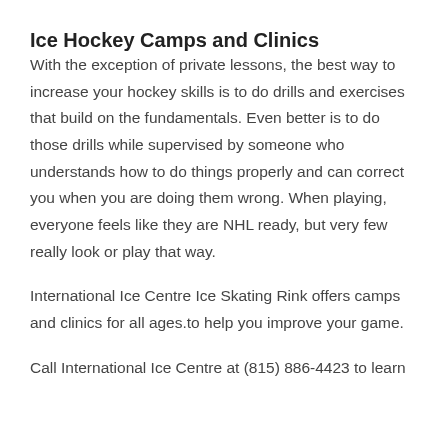Ice Hockey Camps and Clinics
With the exception of private lessons, the best way to increase your hockey skills is to do drills and exercises that build on the fundamentals. Even better is to do those drills while supervised by someone who understands how to do things properly and can correct you when you are doing them wrong. When playing, everyone feels like they are NHL ready, but very few really look or play that way.
International Ice Centre Ice Skating Rink offers camps and clinics for all ages.to help you improve your game.
Call International Ice Centre at (815) 886-4423 to learn